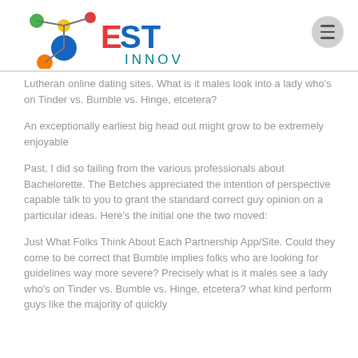[Figure (logo): EST INNOV logo with colorful molecule nodes graphic on left and bold EST text in red and blue with INNOV in teal beneath]
Lutheran online dating sites. What is it males look into a lady who's on Tinder vs. Bumble vs. Hinge, etcetera?
An exceptionally earliest big head out might grow to be extremely enjoyable
Past, I did so failing from the various professionals about Bachelorette. The Betches appreciated the intention of perspective capable talk to you to grant the standard correct guy opinion on a particular ideas. Here's the initial one the two moved:
Just What Folks Think About Each Partnership App/Site. Could they come to be correct that Bumble implies folks who are looking for guidelines way more severe? Precisely what is it males see a lady who's on Tinder vs. Bumble vs. Hinge, etcetera? what kind perform guys like the majority of quickly